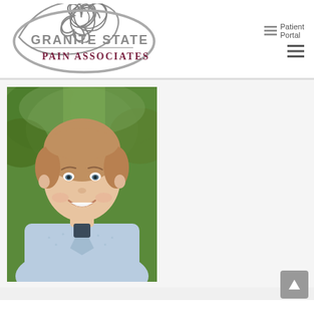[Figure (logo): Granite State Pain Associates logo with triquetra symbol and organization name]
Patient Portal
[Figure (photo): Professional headshot of a smiling woman with short brown hair, wearing a light blue cardigan, photographed outdoors with green trees in background]